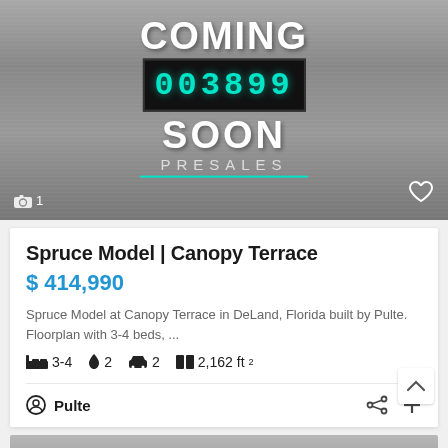[Figure (screenshot): Coming Soon Presales hero image with countdown timer digits on dark background, silver/gray metallic textured background with horizontal lines, white 'COMING' and 'SOON' text, teal countdown digits '003899', 'PRESALES' text with teal underline, camera icon with '1' in bottom left, heart icon in bottom right]
Spruce Model | Canopy Terrace
$ 414,990
Spruce Model at Canopy Terrace in DeLand, Florida built by Pulte. Floorplan with 3-4 beds, ...
3-4 beds  2 baths  2 garage  2,162 ft²
Pulte
[Figure (screenshot): Bottom card gray thumbnail strip]